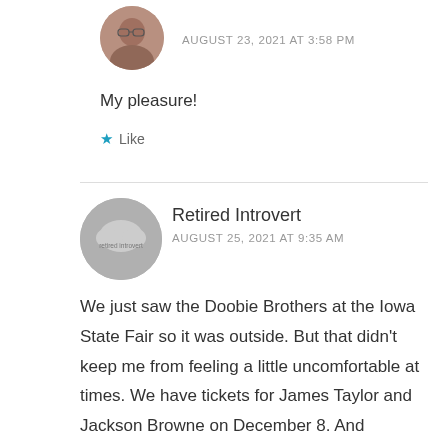[Figure (photo): Small circular avatar photo of a person wearing glasses]
AUGUST 23, 2021 AT 3:58 PM
My pleasure!
★ Like
[Figure (logo): Circular gray avatar with text 'retired introvert']
Retired Introvert
AUGUST 25, 2021 AT 9:35 AM
We just saw the Doobie Brothers at the Iowa State Fair so it was outside. But that didn't keep me from feeling a little uncomfortable at times. We have tickets for James Taylor and Jackson Browne on December 8. And because they are owned outside of Iowa, they can and are requiring proof of vaccination or a negative COVID